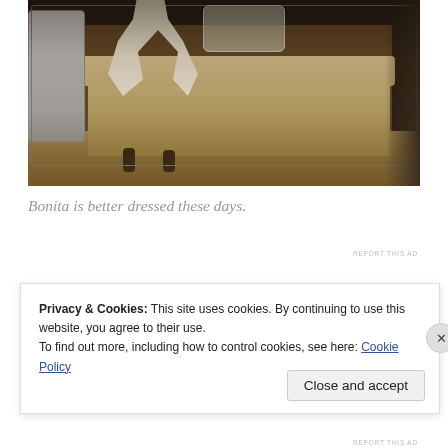[Figure (photo): Photo of a skeleton figure resting its arms on a small ottoman/footstool with cowhide covering and dark rounded legs, with a bag of items on top. A fan is visible on the left and a dark cylindrical object on the right. Wooden floor visible underneath.]
Bonita is better dressed these days.
REPORT THIS AD
Privacy & Cookies: This site uses cookies. By continuing to use this website, you agree to their use.
To find out more, including how to control cookies, see here: Cookie Policy
Close and accept
REPORT THIS AD